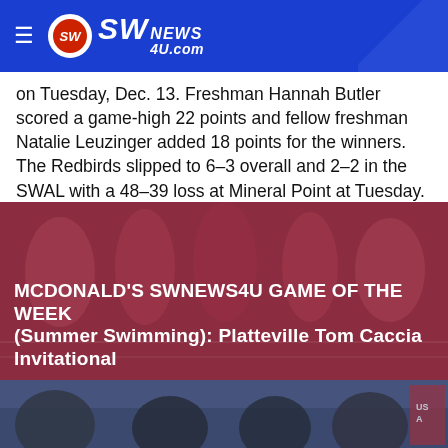SW News 4U.com
on Tuesday, Dec. 13. Freshman Hannah Butler scored a game-high 22 points and fellow freshman Natalie Leuzinger added 18 points for the winners. The Redbirds slipped to 6–3 overall and 2–2 in the SWAL with a 48–39 loss at Mineral Point at Tuesday.
[Figure (photo): Summer swimmers standing together at a pool event, with a red overlay tint. Text overlay reads: MCDONALD'S SWNEWS4U GAME OF THE WEEK (Summer Swimming): Platteville Tom Caccia Invitational]
[Figure (photo): Partial photo of wrestlers/athletes standing together at an event with USA banner visible on right side.]